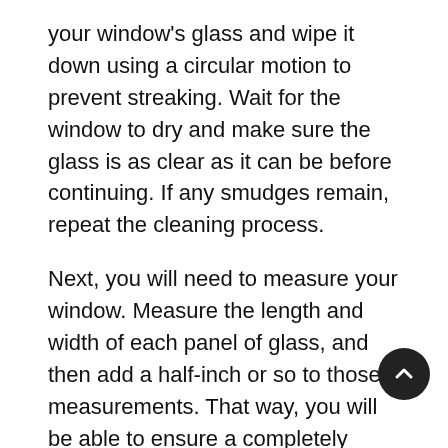your window's glass and wipe it down using a circular motion to prevent streaking. Wait for the window to dry and make sure the glass is as clear as it can be before continuing. If any smudges remain, repeat the cleaning process.
Next, you will need to measure your window. Measure the length and width of each panel of glass, and then add a half-inch or so to those measurements. That way, you will be able to ensure a completely secure fit, and you can always trim off any extra film that is leftover. Use scissors, a knife, or another cutting tool to cut your window film to the appropriate size.
Most window films on our list are self-adhesive films. This means they are essentially like a sticker — you simply need to peel off the layer of